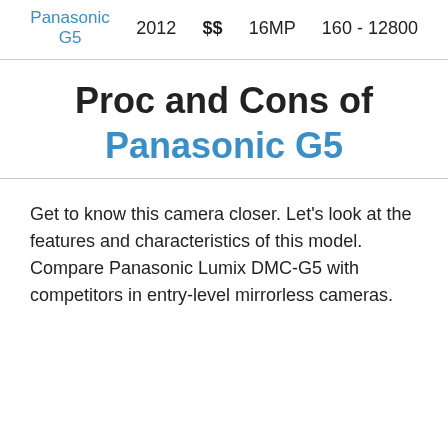Panasonic G5  2012  $$  16MP  160 - 12800
Proc and Cons of Panasonic G5
Get to know this camera closer. Let's look at the features and characteristics of this model. Compare Panasonic Lumix DMC-G5 with competitors in entry-level mirrorless cameras.